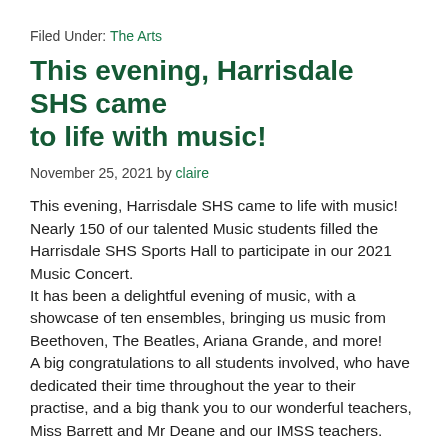Filed Under: The Arts
This evening, Harrisdale SHS came to life with music!
November 25, 2021 by claire
This evening, Harrisdale SHS came to life with music! Nearly 150 of our talented Music students filled the Harrisdale SHS Sports Hall to participate in our 2021 Music Concert.
It has been a delightful evening of music, with a showcase of ten ensembles, bringing us music from Beethoven, The Beatles, Ariana Grande, and more!
A big congratulations to all students involved, who have dedicated their time throughout the year to their practise, and a big thank you to our wonderful teachers, Miss Barrett and Mr Deane and our IMSS teachers.
[Figure (photo): Three image placeholders in a row at the bottom of the page]